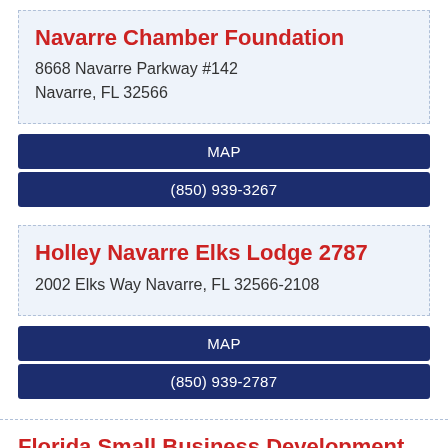Navarre Chamber Foundation
8668 Navarre Parkway #142
Navarre, FL 32566
MAP
(850) 939-3267
Holley Navarre Elks Lodge 2787
2002 Elks Way Navarre, FL 32566-2108
MAP
(850) 939-2787
Florida Small Business Development